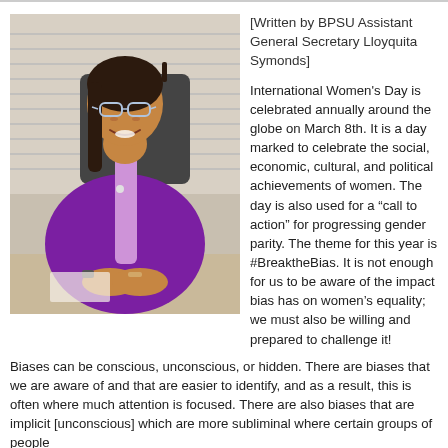[Figure (photo): A woman wearing a purple blazer and glasses, seated at a desk with her hands clasped, smiling at the camera.]
[Written by BPSU Assistant General Secretary Lloyquita Symonds]
International Women's Day is celebrated annually around the globe on March 8th. It is a day marked to celebrate the social, economic, cultural, and political achievements of women. The day is also used for a "call to action" for progressing gender parity. The theme for this year is #BreaktheBias. It is not enough for us to be aware of the impact bias has on women's equality; we must also be willing and prepared to challenge it!
Biases can be conscious, unconscious, or hidden. There are biases that we are aware of and that are easier to identify, and as a result, this is often where much attention is focused. There are also biases that are implicit [unconscious] which are more subliminal where certain groups of people